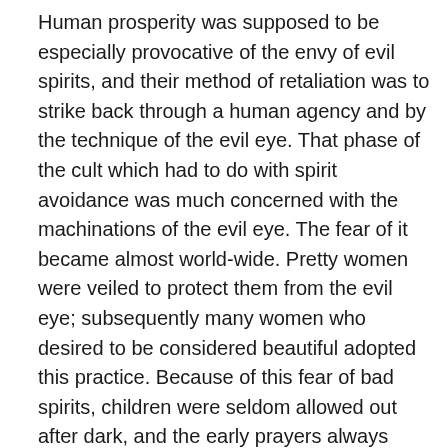Human prosperity was supposed to be especially provocative of the envy of evil spirits, and their method of retaliation was to strike back through a human agency and by the technique of the evil eye. That phase of the cult which had to do with spirit avoidance was much concerned with the machinations of the evil eye. The fear of it became almost world-wide. Pretty women were veiled to protect them from the evil eye; subsequently many women who desired to be considered beautiful adopted this practice. Because of this fear of bad spirits, children were seldom allowed out after dark, and the early prayers always included the petition, “deliver us from the evil eye.” The Koran contains a whole chapter devoted to the evil eye and magic spells, and the Jews fully believed in them. The whole phallic cult grew up as a defense against the evil eye. The organs of reproduction were thought to be